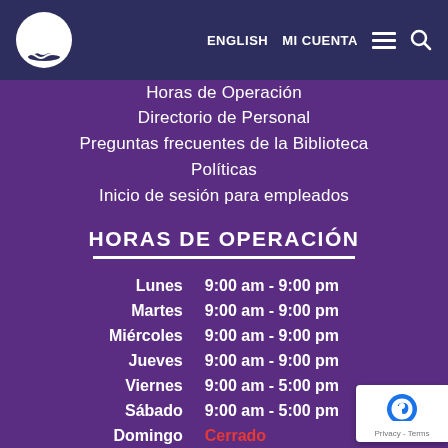ENGLISH  MI CUENTA
Horas de Operación
Directorio de Personal
Preguntas frecuentes de la Biblioteca
Políticas
Inicio de sesión para empleados
HORAS DE OPERACIÓN
| Día | Horario |
| --- | --- |
| Lunes | 9:00 am - 9:00 pm |
| Martes | 9:00 am - 9:00 pm |
| Miércoles | 9:00 am - 9:00 pm |
| Jueves | 9:00 am - 9:00 pm |
| Viernes | 9:00 am - 5:00 pm |
| Sábado | 9:00 am - 5:00 pm |
| Domingo | Cerrado |